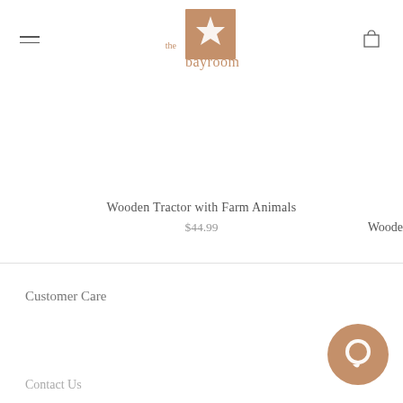[Figure (logo): The Bay Room logo with starfish and sandy brown box]
Wooden Tractor with Farm Animals
$44.99
Woode
Customer Care
Contact Us